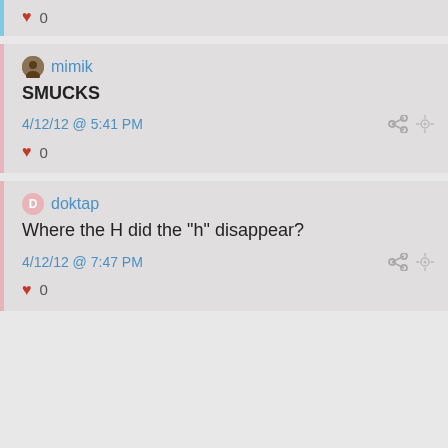♥ 0
mimik
SMUCKS
4/12/12 @ 5:41 PM
♥ 0
doktap
Where the H did the "h" disappear?
4/12/12 @ 7:47 PM
♥ 0